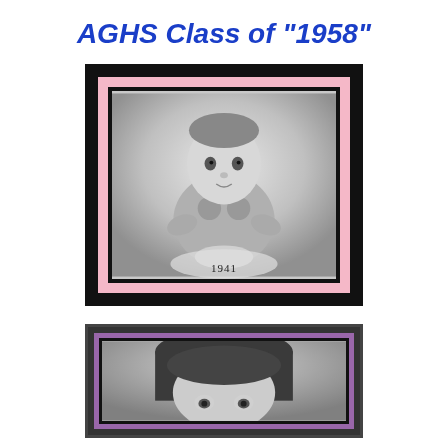AGHS Class of "1958"
[Figure (photo): Black and white baby photo in a pink matted frame with black border, dated 1941]
[Figure (photo): Black and white portrait photo of a young woman with dark hair, partially visible, in a purple matted frame with dark border]